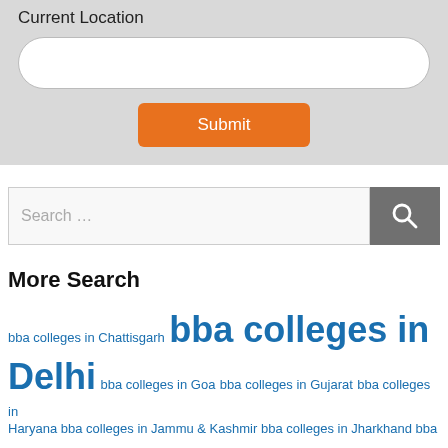Current Location
[Figure (screenshot): Form section with 'Current Location' label, a text input field with rounded corners, and an orange 'Submit' button centered below.]
[Figure (screenshot): Search bar with placeholder text 'Search ...' and a dark grey search button with magnifying glass icon on the right.]
More Search
bba colleges in Chattisgarh  bba colleges in Delhi  bba colleges in Goa  bba colleges in Gujarat  bba colleges in Haryana  bba colleges in Jammu & Kashmir  bba colleges in Jharkhand  bba